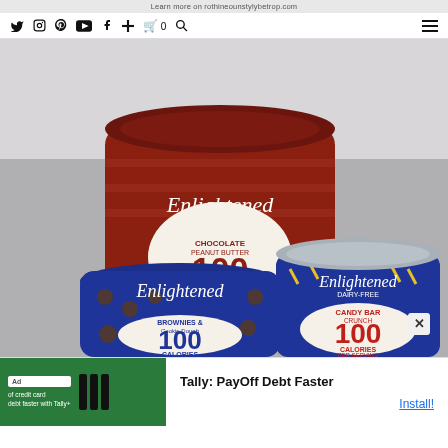Learn more on rothineounstylybetrop.com
[Figure (screenshot): Navigation bar with social media icons: Twitter, Instagram, Pinterest, YouTube, Facebook, plus sign, shopping cart with 0, search icon, and hamburger menu]
[Figure (photo): Three pints of Enlightened ice cream stacked and arranged: top is Chocolate Peanut Butter (red container, 100 calories per serving), bottom left is Brownies & Cookie Dough (blue container, 100 calories per serving), bottom right is Candy Bar Crunch dairy-free (blue container, 100 calories per serving)]
[Figure (screenshot): Advertisement banner for Tally: PayOff Debt Faster with green background, Ad badge, Tally logo bars, and Install button in blue]